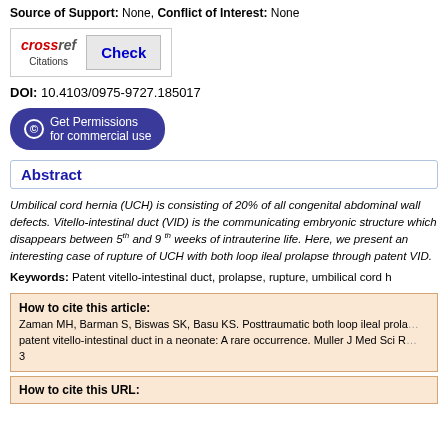Source of Support: None, Conflict of Interest: None
[Figure (logo): CrossRef Citations logo with Check button]
DOI: 10.4103/0975-9727.185017
Get Permissions for commercial use
Abstract
Umbilical cord hernia (UCH) is consisting of 20% of all congenital abdominal wall defects. Vitello-intestinal duct (VID) is the communicating embryonic structure which disappears between 5th and 9th weeks of intrauterine life. Here, we present an interesting case of rupture of UCH with both loop ileal prolapse through patent VID.
Keywords: Patent vitello-intestinal duct, prolapse, rupture, umbilical cord h...
How to cite this article:
Zaman MH, Barman S, Biswas SK, Basu KS. Posttraumatic both loop ileal prolapse through patent vitello-intestinal duct in a neonate: A rare occurrence. Muller J Med Sci Re...
3
How to cite this URL: